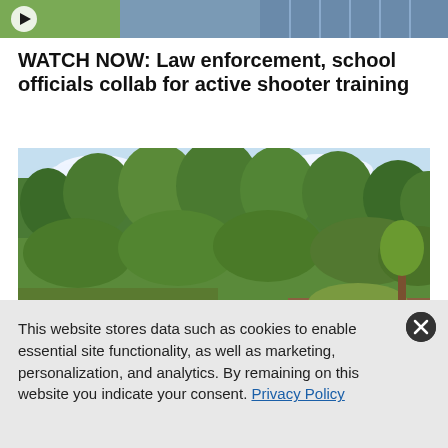[Figure (screenshot): Video thumbnail strip showing outdoor scene with play button]
WATCH NOW: Law enforcement, school officials collab for active shooter training
[Figure (photo): A lush garden with red flowers, trees and shrubs, and a brown sign reading 'Pollinator Habitat']
This website stores data such as cookies to enable essential site functionality, as well as marketing, personalization, and analytics. By remaining on this website you indicate your consent. Privacy Policy